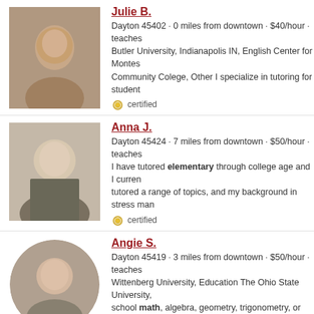Julie B. — Dayton 45402 · 0 miles from downtown · $40/hour · teaches ... Butler University, Indianapolis IN, English Center for Montes... Community Colege, Other I specialize in tutoring for student... certified
Anna J. — Dayton 45424 · 7 miles from downtown · $50/hour · teaches ... I have tutored elementary through college age and I curren... tutored a range of topics, and my background in stress man... certified
Angie S. — Dayton 45419 · 3 miles from downtown · $50/hour · teaches ... Wittenberg University, Education The Ohio State University,... school math, algebra, geometry, trigonometry, or pre-calcul... certified
Gwen D. — Bellbrook 45305 · 11 miles from 45400 · $70/hour · teaches ... I have experience tutoring elementary through graduate le... only a teaching assistant for Legal Writing and Appellate Ad... certified